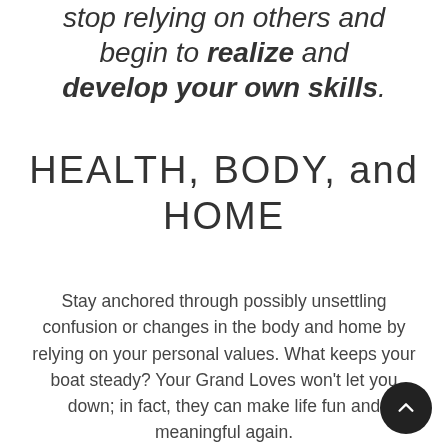stop relying on others and begin to realize and develop your own skills.
HEALTH, BODY, and HOME
Stay anchored through possibly unsettling confusion or changes in the body and home by relying on your personal values. What keeps your boat steady? Your Grand Loves won't let you down; in fact, they can make life fun and meaningful again.